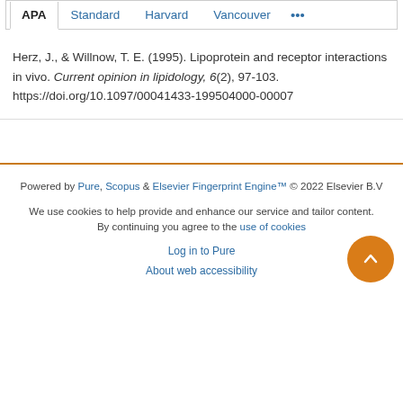APA | Standard | Harvard | Vancouver | ...
Herz, J., & Willnow, T. E. (1995). Lipoprotein and receptor interactions in vivo. Current opinion in lipidology, 6(2), 97-103. https://doi.org/10.1097/00041433-199504000-00007
Powered by Pure, Scopus & Elsevier Fingerprint Engine™ © 2022 Elsevier B.V
We use cookies to help provide and enhance our service and tailor content. By continuing you agree to the use of cookies
Log in to Pure
About web accessibility